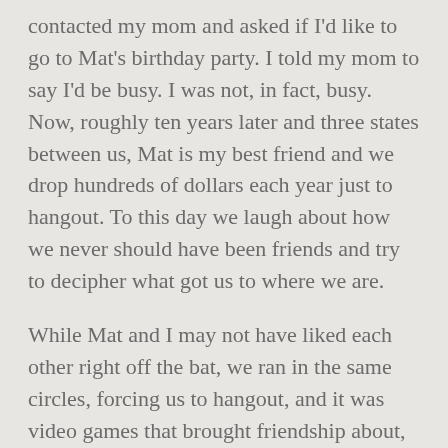contacted my mom and asked if I'd like to go to Mat's birthday party. I told my mom to say I'd be busy. I was not, in fact, busy. Now, roughly ten years later and three states between us, Mat is my best friend and we drop hundreds of dollars each year just to hangout. To this day we laugh about how we never should have been friends and try to decipher what got us to where we are.
While Mat and I may not have liked each other right off the bat, we ran in the same circles, forcing us to hangout, and it was video games that brought friendship about, as they do. Specifically, Mat and I were the only Soul Calibur IV players out of everyone we knew, and we wanted to challenge each other. It